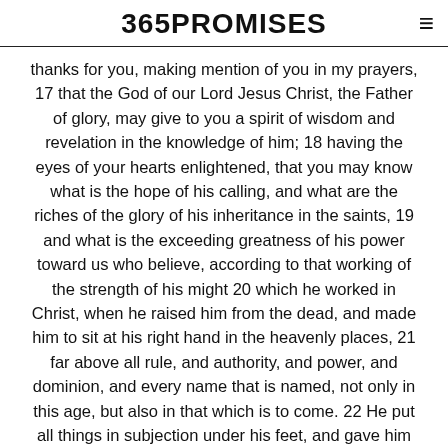365PROMISES
thanks for you, making mention of you in my prayers, 17 that the God of our Lord Jesus Christ, the Father of glory, may give to you a spirit of wisdom and revelation in the knowledge of him; 18 having the eyes of your hearts enlightened, that you may know what is the hope of his calling, and what are the riches of the glory of his inheritance in the saints, 19 and what is the exceeding greatness of his power toward us who believe, according to that working of the strength of his might 20 which he worked in Christ, when he raised him from the dead, and made him to sit at his right hand in the heavenly places, 21 far above all rule, and authority, and power, and dominion, and every name that is named, not only in this age, but also in that which is to come. 22 He put all things in subjection under his feet, and gave him to be head over all things for the assembly, 23 which is his body, the fullness of